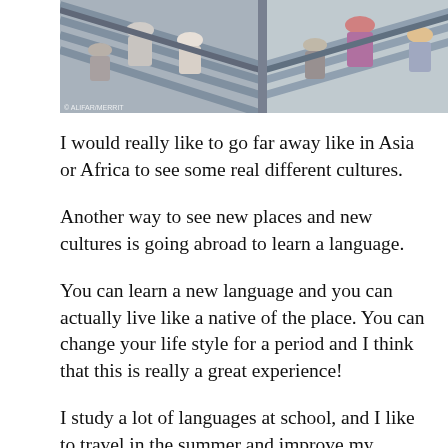[Figure (photo): Photo of people on escalators, viewed from above, in what appears to be a subway or shopping mall setting]
I would really like to go far away like in Asia or Africa to see some real different cultures.
Another way to see new places and new cultures is going abroad to learn a language.
You can learn a new language and you can actually live like a native of the place. You can change your life style for a period and I think that this is really a great experience!
I study a lot of languages at school, and I like to travel in the summer and improve my additional languages. I've already been to Germany a couple of times to study German and I really liked that experience. So this summer I'm in Santa Barbara for a month to improve my English